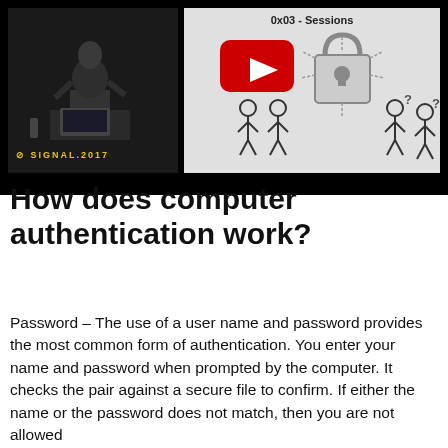[Figure (screenshot): Video thumbnail showing a speaker at a conference podium on the left (dark background, Signal 2017 branding in yellow) and a presentation slide on the right showing '0x03 - Sessions' with a YouTube play button, a padlock icon with radiating lines, stick figures on left side (authenticated) and right side with question marks (unauthenticated)]
How does computer authentication work?
Password – The use of a user name and password provides the most common form of authentication. You enter your name and password when prompted by the computer. It checks the pair against a secure file to confirm. If either the name or the password does not match, then you are not allowed further.